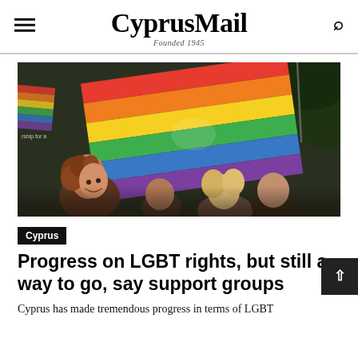CyprusMail Founded 1945
[Figure (photo): People at a Pride event holding and waving large rainbow LGBT flags, smiling and celebrating outdoors.]
Cyprus
Progress on LGBT rights, but still a way to go, say support groups
Cyprus has made tremendous progress in terms of LGBT